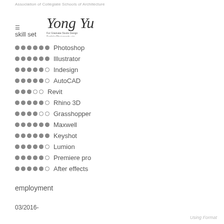Association of Collegiate Schools of Architecture
[Figure (illustration): Handwritten signature with cursive text 'Yong Yu' and subtitle text about graduate design, underlined]
skill set
●●●●●● Photoshop
●●●●●● Illustrator
●●●●●○ Indesign
●●●●●○ AutoCAD
●●●○○ Revit
●●●●●○ Rhino 3D
●●●●○○ Grasshopper
●●●●●● Maxwell
●●●●●● Keyshot
●●●●●○ Lumion
●●●●●○ Premiere pro
●●●●●○ After effects
employment
03/2016-
Using Format